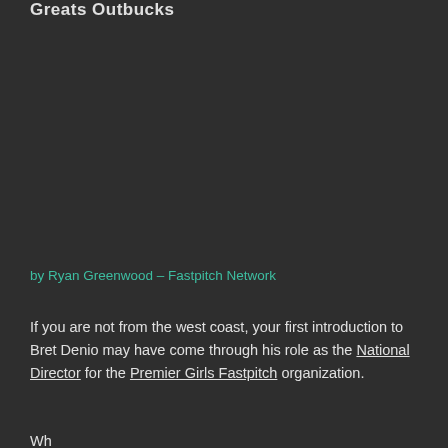Greats Outbucks
by Ryan Greenwood – Fastpitch Network
If you are not from the west coast, your first introduction to Bret Denio may have come through his role as the National Director for the Premier Girls Fastpitch organization.
Wh...